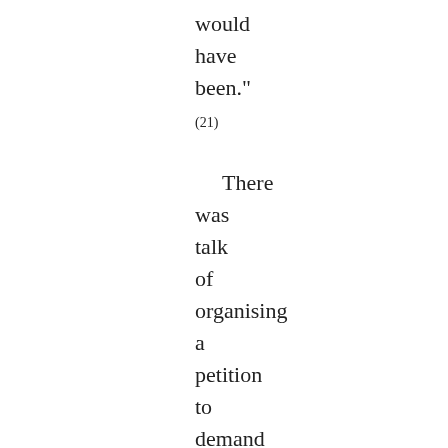would have been." (21)     There was talk of organising a petition to demand clemency for the two boys, but nothing